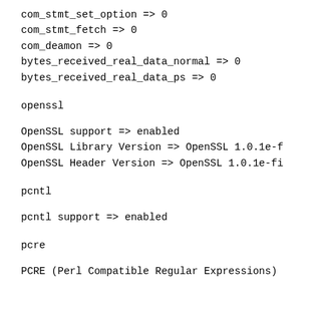com_stmt_set_option => 0
com_stmt_fetch => 0
com_deamon => 0
bytes_received_real_data_normal => 0
bytes_received_real_data_ps => 0
openssl
OpenSSL support => enabled
OpenSSL Library Version => OpenSSL 1.0.1e-f
OpenSSL Header Version => OpenSSL 1.0.1e-fi
pcntl
pcntl support => enabled
pcre
PCRE (Perl Compatible Regular Expressions)